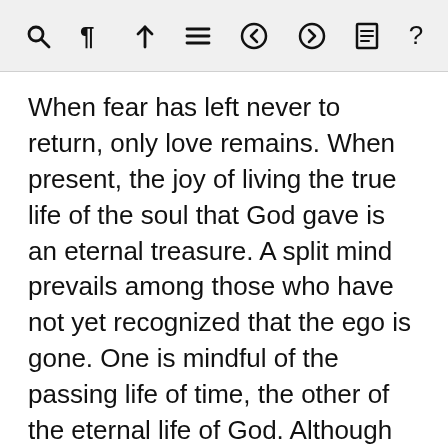toolbar with icons: search, paragraph, arrow-up, list, back-arrow, forward-arrow, document, question-mark
When fear has left never to return, only love remains. When present, the joy of living the true life of the soul that God gave is an eternal treasure. A split mind prevails among those who have not yet recognized that the ego is gone. One is mindful of the passing life of time, the other of the eternal life of God. Although this split between the dimension of time and that of eternity is unreal, for those still enmeshed in the idea of duality, dwelling in one or the other makes all the difference.
The mind can deny truth as it can any other